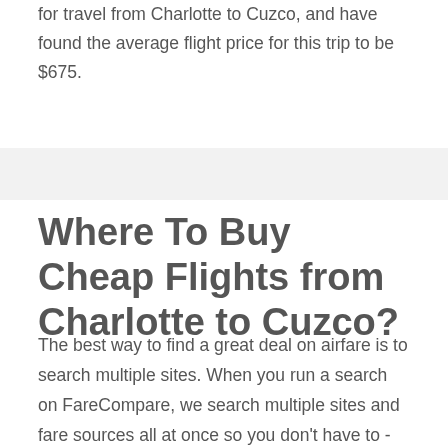for travel from Charlotte to Cuzco, and have found the average flight price for this trip to be $675.
Where To Buy Cheap Flights from Charlotte to Cuzco?
The best way to find a great deal on airfare is to search multiple sites. When you run a search on FareCompare, we search multiple sites and fare sources all at once so you don't have to - which is why we think FareCompare is the best place to find cheap tickets. Airlines can adjust prices for tickets from